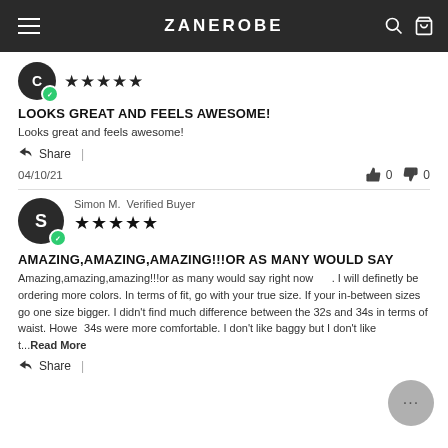ZANEROBE
★★★★★
LOOKS GREAT AND FEELS AWESOME!
Looks great and feels awesome!
Share
04/10/21   👍 0   👎 0
Simon M.  Verified Buyer
★★★★★
AMAZING,AMAZING,AMAZING!!!OR AS MANY WOULD SAY
Amazing,amazing,amazing!!!or as many would say right now      . I will definetly be ordering more colors. In terms of fit, go with your true size. If your in-between sizes go one size bigger. I didn't find much difference between the 32s and 34s in terms of waist. However the 34s were more comfortable. I don't like baggy but I don't like t...Read More
Share